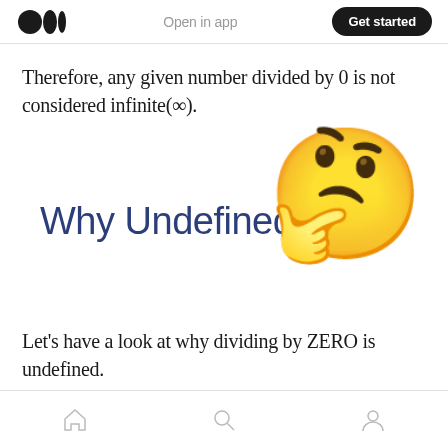Open in app  Get started
Therefore, any given number divided by 0 is not considered infinite(∞).
[Figure (illustration): Large text 'Why Undefined' in dark blue/navy color overlapping with a large thinking face emoji (🤔) on the right side.]
Let's have a look at why dividing by ZERO is undefined.
Home  Search  Profile navigation icons